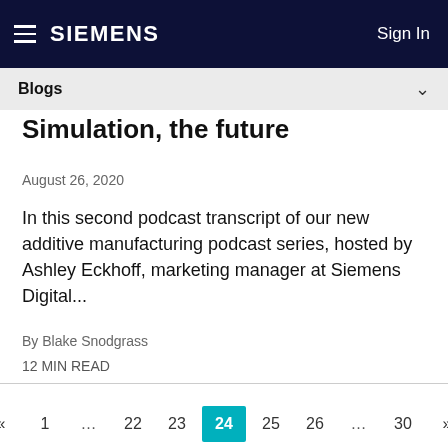SIEMENS   Sign In
Blogs
Simulation, the future
August 26, 2020
In this second podcast transcript of our new additive manufacturing podcast series, hosted by Ashley Eckhoff, marketing manager at Siemens Digital...
By Blake Snodgrass
12 MIN READ
« 1 … 22 23 24 25 26 … 30 »